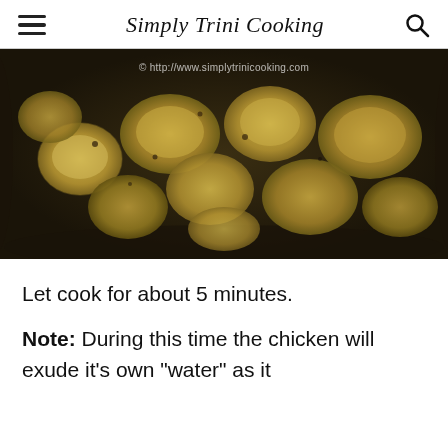Simply Trini Cooking
[Figure (photo): A pan with curry chicken pieces cooking, showing golden-yellow spiced chicken chunks in a dark pan, with a watermark overlay reading © http://www.simplytrinicooking.com]
Let cook for about 5 minutes.
Note: During this time the chicken will exude it's own "water" as it